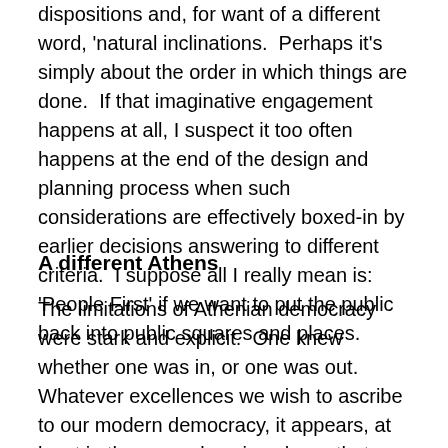dispositions and, for want of a different word, 'natural inclinations.  Perhaps it's simply about the order in which things are done.  If that imaginative engagement happens at all, I suspect it too often happens at the end of the design and planning process when such considerations are effectively boxed-in by earlier decisions answering to different criteria.  I suppose all I really mean is: 'People First' if we want to put the public back into public squares and places.
A different Athens
The limitations of Athenian democracy were stark and explicit.  One knew whether one was in, or one was out.  Whatever excellences we wish to ascribe to our modern democracy, it appears, at least in the examples given here, that our ability to fully realise  the ideal of democratic